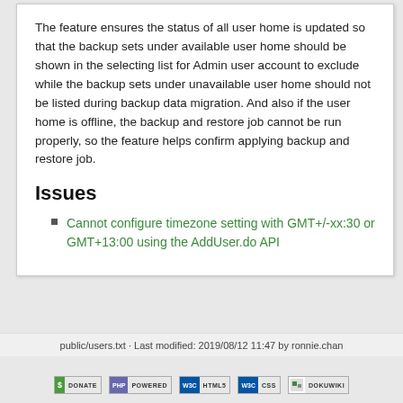The feature ensures the status of all user home is updated so that the backup sets under available user home should be shown in the selecting list for Admin user account to exclude while the backup sets under unavailable user home should not be listed during backup data migration. And also if the user home is offline, the backup and restore job cannot be run properly, so the feature helps confirm applying backup and restore job.
Issues
Cannot configure timezone setting with GMT+/-xx:30 or GMT+13:00 using the AddUser.do API
public/users.txt · Last modified: 2019/08/12 11:47 by ronnie.chan